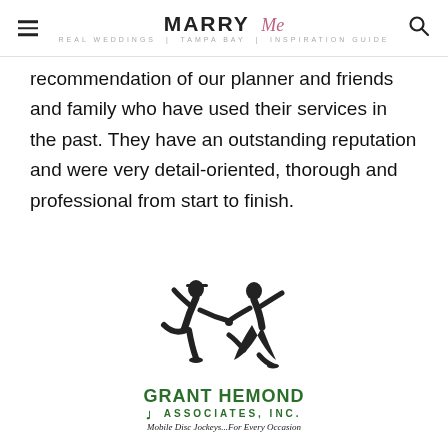MARRY Me Tampa Bay
recommendation of our planner and friends and family who have used their services in the past. They have an outstanding reputation and were very detail-oriented, thorough and professional from start to finish.
[Figure (logo): Grant Hemond Associates Inc. logo — two silhouetted dancers (man and woman) holding hands and kicking, above the text GRANT HEMOND ASSOCIATES, INC. and the tagline Mobile Disc Jockeys...For Every Occasion, in green.]